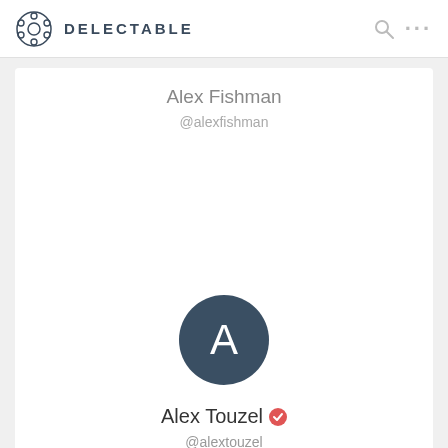DELECTABLE
Alex Fishman
@alexfishman
[Figure (illustration): User profile card for Alex Touzel showing a dark circle avatar with letter A, verified badge, name Alex Touzel and handle @alextouzel]
Alex Touzel
@alextouzel